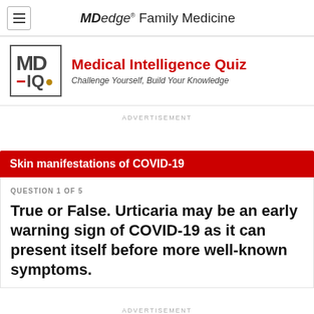MDedge Family Medicine
[Figure (logo): MD-IQ logo: square border with MD on top row and -IQ on bottom row]
Medical Intelligence Quiz
Challenge Yourself, Build Your Knowledge
ADVERTISEMENT
Skin manifestations of COVID-19
QUESTION 1 OF 5
True or False. Urticaria may be an early warning sign of COVID-19 as it can present itself before more well-known symptoms.
ADVERTISEMENT